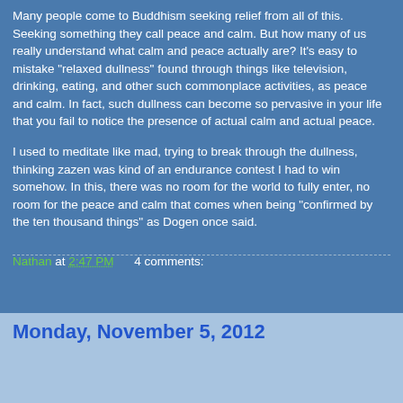Many people come to Buddhism seeking relief from all of this. Seeking something they call peace and calm. But how many of us really understand what calm and peace actually are? It's easy to mistake "relaxed dullness" found through things like television, drinking, eating, and other such commonplace activities, as peace and calm. In fact, such dullness can become so pervasive in your life that you fail to notice the presence of actual calm and actual peace.
I used to meditate like mad, trying to break through the dullness, thinking zazen was kind of an endurance contest I had to win somehow. In this, there was no room for the world to fully enter, no room for the peace and calm that comes when being "confirmed by the ten thousand things" as Dogen once said.
Nathan at 2:47 PM     4 comments:
Share
Monday, November 5, 2012